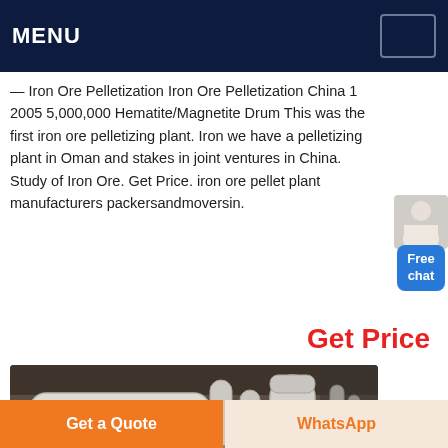MENU
— Iron Ore Pelletization Iron Ore Pelletization China 1 2005 5,000,000 Hematite/Magnetite Drum This was the first iron ore pelletizing plant. Iron we have a pelletizing plant in Oman and stakes in joint ventures in China. Study of Iron Ore. Get Price. iron ore pellet plant manufacturers packersandmoversin.
Get Price
[Figure (photo): Industrial pipes and machinery, white cylindrical pipes in a factory/plant setting]
Get a Quote
WhatsApp